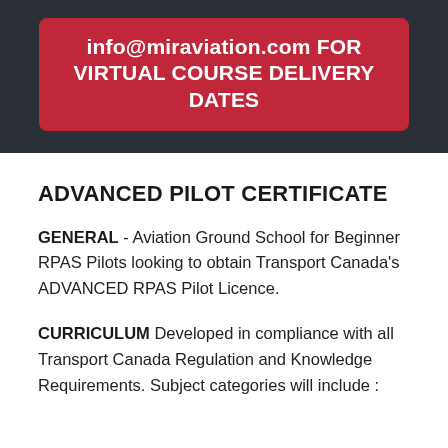info@miraviation.com FOR VIRTUAL COURSE DELIVERY DATES
ADVANCED PILOT CERTIFICATE
GENERAL - Aviation Ground School for Beginner RPAS Pilots looking to obtain Transport Canada's ADVANCED RPAS Pilot Licence.
CURRICULUM  Developed in compliance with all Transport Canada Regulation and Knowledge Requirements. Subject categories will include :